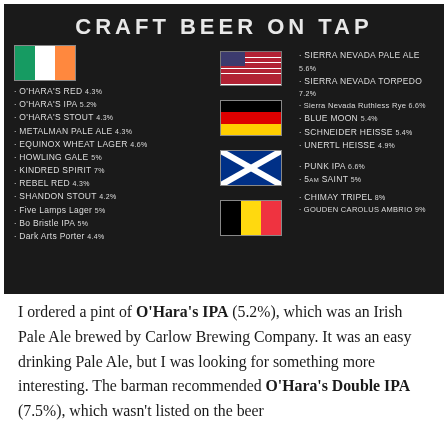[Figure (photo): Chalkboard menu showing 'CRAFT BEER ON TAP' with Irish, American, German, Scottish, and Belgian flag sections listing various craft beers and their alcohol percentages.]
I ordered a pint of O'Hara's IPA (5.2%), which was an Irish Pale Ale brewed by Carlow Brewing Company. It was an easy drinking Pale Ale, but I was looking for something more interesting. The barman recommended O'Hara's Double IPA (7.5%), which wasn't listed on the beer